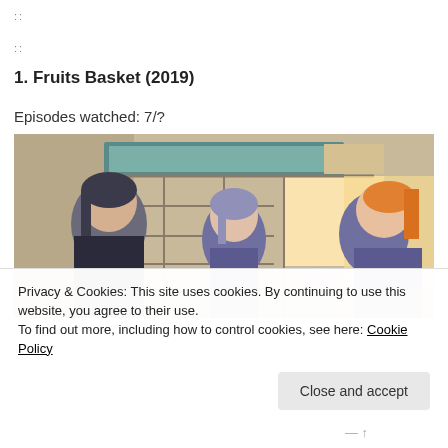::
::
1. Fruits Basket (2019)
Episodes watched: 7/?
[Figure (illustration): Anime scene from Fruits Basket (2019) showing three characters from behind looking out a window with a teal/green panel above, warm sunlight, Japanese-style sliding window panels]
Privacy & Cookies: This site uses cookies. By continuing to use this website, you agree to their use.
To find out more, including how to control cookies, see here: Cookie Policy
Close and accept